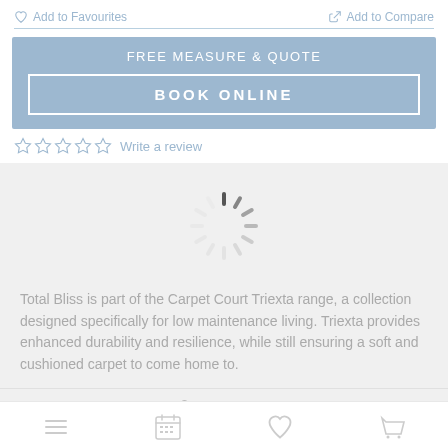Add to Favourites
Add to Compare
FREE MEASURE & QUOTE
BOOK ONLINE
Write a review
[Figure (other): Loading spinner icon]
Total Bliss is part of the Carpet Court Triexta range, a collection designed specifically for low maintenance living. Triexta provides enhanced durability and resilience, while still ensuring a soft and cushioned carpet to come home to.
CHANGE
[Figure (other): Bottom navigation bar with menu, calendar, heart/favourites, and cart icons]